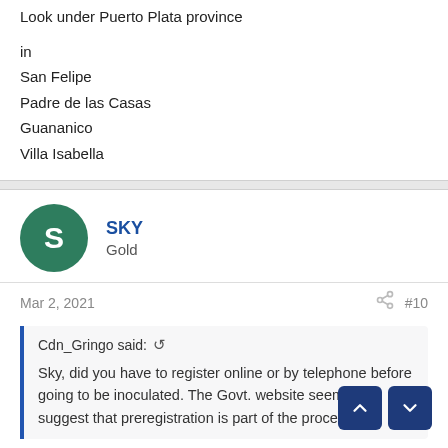Look under Puerto Plata province
in
San Felipe
Padre de las Casas
Guananico
Villa Isabella
SKY
Gold
Mar 2, 2021    #10
Cdn_Gringo said: ↺
Sky, did you have to register online or by telephone before going to be inoculated. The Govt. website seems to suggest that preregistration is part of the process?
No. Just went in and got the shot. No register or nothing. h your Cedula.